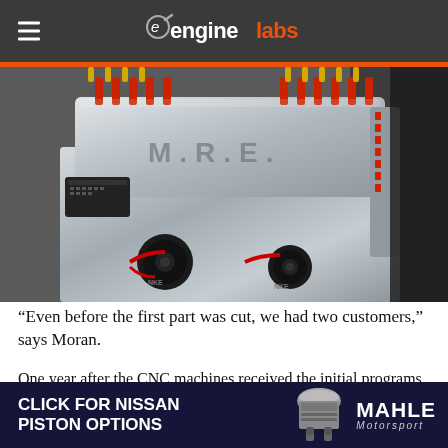enginelabs
[Figure (photo): Close-up photo of a polished aluminum racing engine with M.R.E. branding, red valve springs, black pulleys, and detailed CNC machined components]
“Even before the first part was cut, we had two customers,” says Moran.
One year after the CNC machines received the initial programs, the first engine was built. Six months later
[Figure (infographic): Advertisement banner: CLICK FOR NISSAN PISTON OPTIONS with MAHLE Motorsport logo and piston image]